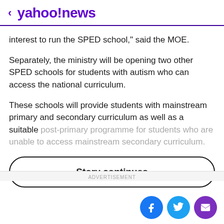< yahoo!news
interest to run the SPED school," said the MOE.
Separately, the ministry will be opening two other SPED schools for students with autism who can access the national curriculum.
These schools will provide students with mainstream primary and secondary curriculum as well as a suitable post-primary programme for students who are unable to access mainstream secondary curriculum.
Story continues
ADVERTISEMENT